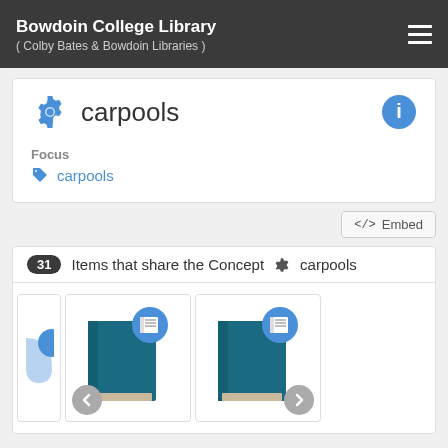Bowdoin College Library
( Colby Bates & Bowdoin Libraries )
carpools
Focus
carpools
31 Items that share the Concept carpools
[Figure (illustration): Three book cover thumbnails in a horizontally scrollable gallery, showing teal/blue book icons with a book badge overlay. Navigation arrows (left and right) are visible at bottom corners.]